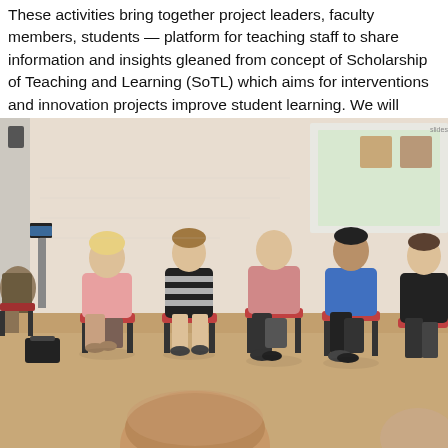These activities bring together project leaders, faculty members, students — platform for teaching staff to share information and insights gleaned from the concept of Scholarship of Teaching and Learning (SoTL) which aims for interventions and innovation projects improve student learning. We will
[Figure (photo): A group of people seated in chairs arranged in a circle or semi-circle in a room with a projector screen in the background. Multiple people of mixed gender are engaged in conversation. The setting appears to be an academic or workshop environment.]